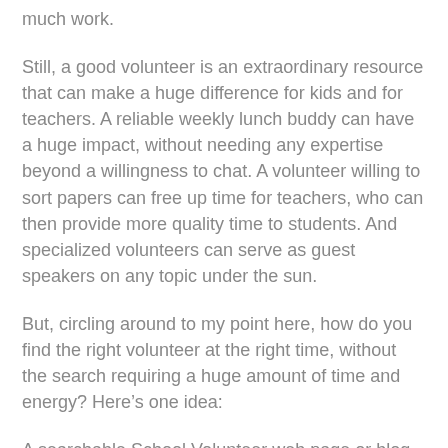much work.
Still, a good volunteer is an extraordinary resource that can make a huge difference for kids and for teachers. A reliable weekly lunch buddy can have a huge impact, without needing any expertise beyond a willingness to chat. A volunteer willing to sort papers can free up time for teachers, who can then provide more quality time to students. And specialized volunteers can serve as guest speakers on any topic under the sun.
But, circling around to my point here, how do you find the right volunteer at the right time, without the search requiring a huge amount of time and energy? Here’s one idea:
A searchable School Volunteer web page or blog. I’ll call it the V-LOG. If a teacher had a sudden urge to find a speaker on, say, nuclear fusion, or thought a tow truck driver could help explain hydraulics, or a Vietnam Vet could really bring a related lesson to life, they could type in a few key words and instantly find volunteers with the required skill set or